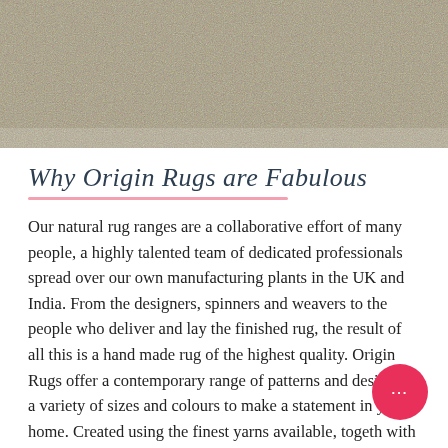[Figure (photo): Close-up photo of a textured rug with mixed colors including grey, yellow/gold, and white fibers.]
Why Origin Rugs are Fabulous
Our natural rug ranges are a collaborative effort of many people, a highly talented team of dedicated professionals spread over our own manufacturing plants in the UK and India. From the designers, spinners and weavers to the people who deliver and lay the finished rug, the result of all this is a hand made rug of the highest quality. Origin Rugs offer a contemporary range of patterns and designs in a variety of sizes and colours to make a statement in your home. Created using the finest yarns available, together with our sustainable approach to manufacturing, the Origin Rugs ranges have a timeless quality that will make your home feel special. Each time you choose one, you'll be walking in the